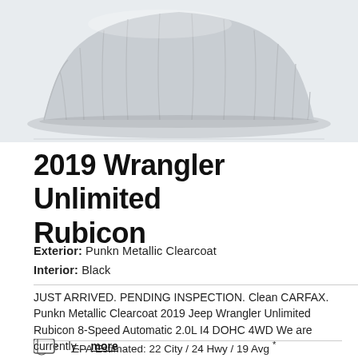[Figure (photo): A car covered with a gray draped cloth/cover, photographed against a light gray background, showing the silhouette of a vehicle under wraps.]
2019 Wrangler Unlimited Rubicon
Exterior: Punkn Metallic Clearcoat
Interior: Black
JUST ARRIVED. PENDING INSPECTION. Clean CARFAX. Punkn Metallic Clearcoat 2019 Jeep Wrangler Unlimited Rubicon 8-Speed Automatic 2.0L I4 DOHC 4WD We are currently... more
EPA Estimated: 22 City / 24 Hwy / 19 Avg *